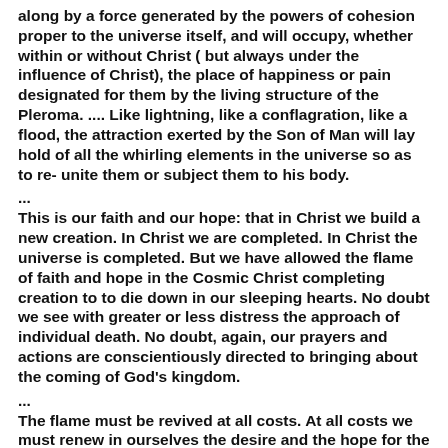along by a force generated by the powers of cohesion proper to the universe itself, and will occupy, whether within or without Christ ( but always under the influence of Christ), the place of happiness or pain designated for them by the living structure of the Pleroma. .... Like lightning, like a conflagration, like a flood, the attraction exerted by the Son of Man will lay hold of all the whirling elements in the universe so as to re- unite them or subject them to his body.
...
This is our faith and our hope: that in Christ we build a new creation. In Christ we are completed. In Christ the universe is completed. But we have allowed the flame of faith and hope in the Cosmic Christ completing creation to to die down in our sleeping hearts. No doubt we see with greater or less distress the approach of individual death. No doubt, again, our prayers and actions are conscientiously directed to bringing about the coming of God's kingdom.
...
The flame must be revived at all costs. At all costs we must renew in ourselves the desire and the hope for the